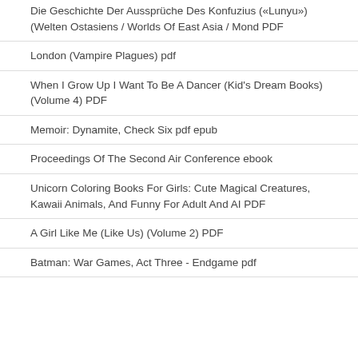Die Geschichte Der Aussprüche Des Konfuzius («Lunyu») (Welten Ostasiens / Worlds Of East Asia / Mond PDF
London (Vampire Plagues) pdf
When I Grow Up I Want To Be A Dancer (Kid's Dream Books) (Volume 4) PDF
Memoir: Dynamite, Check Six pdf epub
Proceedings Of The Second Air Conference ebook
Unicorn Coloring Books For Girls: Cute Magical Creatures, Kawaii Animals, And Funny For Adult And AI PDF
A Girl Like Me (Like Us) (Volume 2) PDF
Batman: War Games, Act Three - Endgame pdf